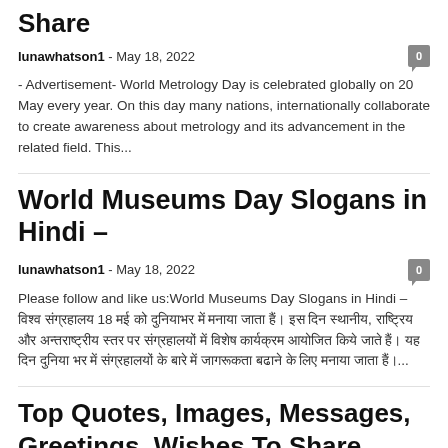Share
lunawhatson1 - May 18, 2022
- Advertisement- World Metrology Day is celebrated globally on 20 May every year. On this day many nations, internationally collaborate to create awareness about metrology and its advancement in the related field. This...
World Museums Day Slogans in Hindi –
lunawhatson1 - May 18, 2022
Please follow and like us:World Museums Day Slogans in Hindi – [Hindi text] ...
Top Quotes, Images, Messages, Greetings, Wishes To Share
lunawhatson1 - May 18, 2022